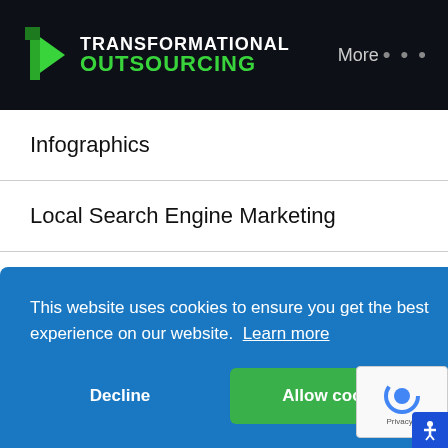TRANSFORMATIONAL OUTSOURCING
Infographics
Local Search Engine Marketing
Online Reviews
This website uses cookies to ensure you get the best experience on our website. Learn more
Decline | Allow cookies